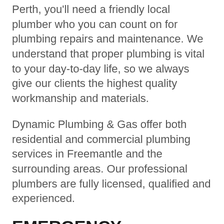Perth, you'll need a friendly local plumber who you can count on for plumbing repairs and maintenance. We understand that proper plumbing is vital to your day-to-day life, so we always give our clients the highest quality workmanship and materials.
Dynamic Plumbing & Gas offer both residential and commercial plumbing services in Freemantle and the surrounding areas. Our professional plumbers are fully licensed, qualified and experienced.
EMERGENCY PLUMBING IN FREEMANTLE